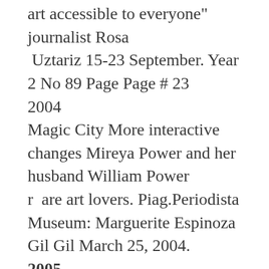art accessible to everyone" journalist Rosa
Uztariz 15-23 September. Year 2 No 89 Page Page # 23
2004
Magic City More interactive changes Mireya Power and her husband William Power
r  are art lovers. Piag.Periodista Museum: Marguerite Espinoza Gil Gil March 25, 2004.
2005
Free the Piag Museum on Wheels report Daniel Román 11 may, 2005 year XL No 1520